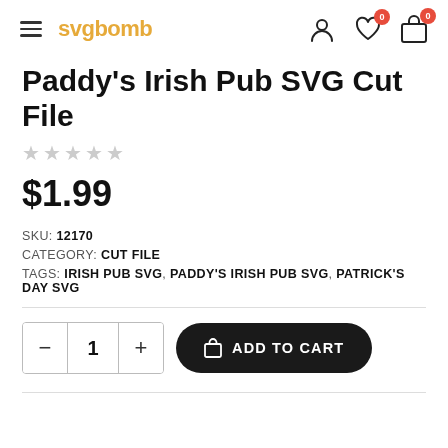svgbomb — navigation header with hamburger menu, logo, user icon, wishlist (0), cart (0)
Paddy's Irish Pub SVG Cut File
★★★★★ (empty stars rating)
$1.99
SKU: 12170
CATEGORY: CUT FILE
TAGS: IRISH PUB SVG, PADDY'S IRISH PUB SVG, PATRICK'S DAY SVG
Quantity selector: − 1 + | ADD TO CART button